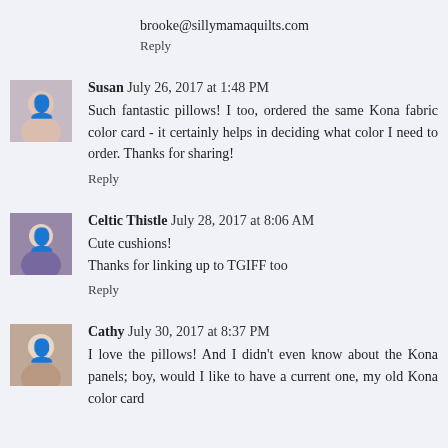brooke@sillymamaquilts.com
Reply
[Figure (photo): Avatar photo of Susan, a woman smiling]
Susan  July 26, 2017 at 1:48 PM
Such fantastic pillows! I too, ordered the same Kona fabric color card - it certainly helps in deciding what color I need to order. Thanks for sharing!
Reply
[Figure (photo): Avatar photo of Celtic Thistle, a woman in purple]
Celtic Thistle  July 28, 2017 at 8:06 AM
Cute cushions!
Thanks for linking up to TGIFF too
Reply
[Figure (photo): Avatar photo of Cathy, an older woman]
Cathy  July 30, 2017 at 8:37 PM
I love the pillows! And I didn't even know about the Kona panels; boy, would I like to have a current one, my old Kona color card